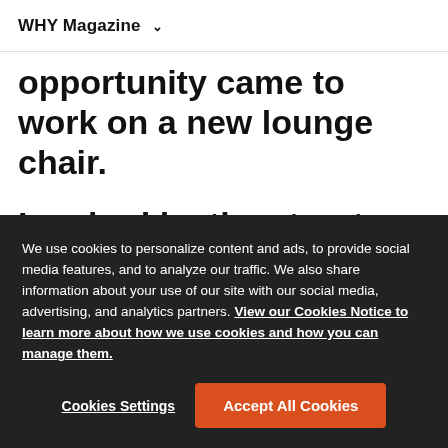WHY Magazine ▾
opportunity came to work on a new lounge chair.
Inspired by the structure and materiality of a ski boot, the Striad Lounge Chair is one of the lat…
We use cookies to personalize content and ads, to provide social media features, and to analyze our traffic. We also share information about your use of our site with our social media, advertising, and analytics partners. View our Cookies Notice to learn more about how we use cookies and how you can manage them.
Cookies Settings
Accept All Cookies